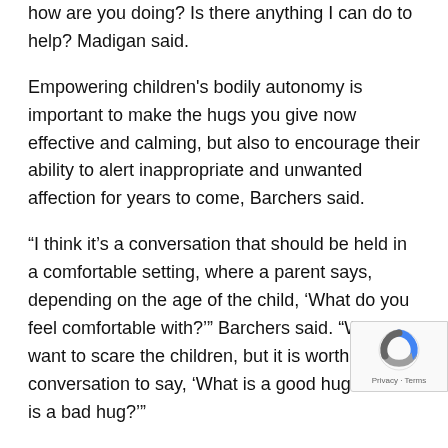how are you doing? Is there anything I can do to help? Madigan said.
Empowering children's bodily autonomy is important to make the hugs you give now effective and calming, but also to encourage their ability to alert inappropriate and unwanted affection for years to come, Barchers said.
“I think it’s a conversation that should be held in a comfortable setting, where a parent says, depending on the age of the child, ‘What do you feel comfortable with?’” Barchers said. “We don’t want to scare the children, but it is worth a conversation to say, ‘What is a good hug? What is a bad hug?’”
Respecting other people’s bodies
In teaching children that others should respect their bodies,